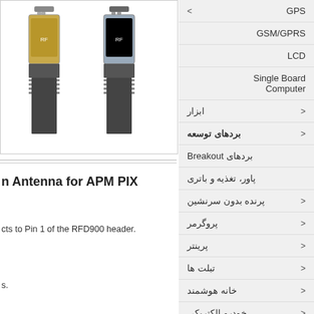[Figure (photo): Two RF antenna modules for APM PIX flight controllers, shown against white background]
n Antenna for APM PIX
cts to Pin 1 of the RFD900 header.
s.
GPS
GSM/GPRS
LCD
Single Board Computer
ابزار
بردهای توسعه
بردهای Breakout
پاور، تغذیه و باتری
پرنده بدون سرنشین
پروگرمر
پرینتر
تبلت ها
خانه هوشمند
خودرو الکتریکی
درایورها
رادیویی RF و ارتباطات
رباتیک
ربات